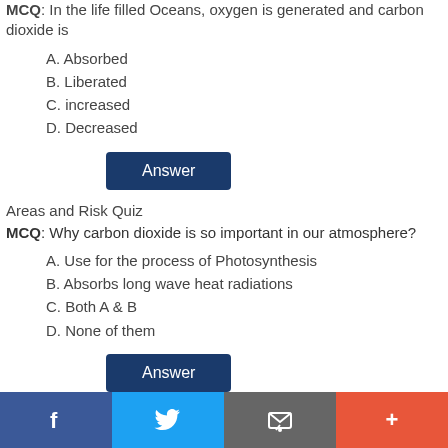MCQ: In the life filled Oceans, oxygen is generated and carbon dioxide is
A. Absorbed
B. Liberated
C. increased
D. Decreased
Answer
Areas and Risk Quiz
MCQ: Why carbon dioxide is so important in our atmosphere?
A. Use for the process of Photosynthesis
B. Absorbs long wave heat radiations
C. Both A & B
D. None of them
Answer